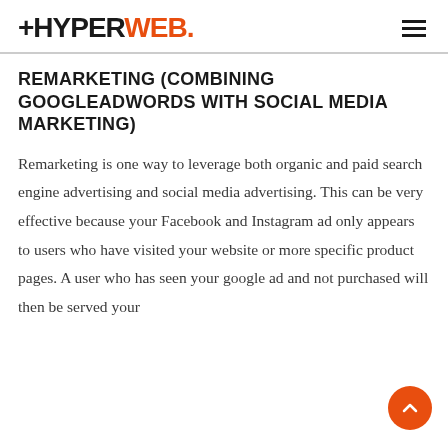+HYPERWEB.
REMARKETING (COMBINING GOOGLEADWORDS WITH SOCIAL MEDIA MARKETING)
Remarketing is one way to leverage both organic and paid search engine advertising and social media advertising. This can be very effective because your Facebook and Instagram ad only appears to users who have visited your website or more specific product pages. A user who has seen your google ad and not purchased will then be served your